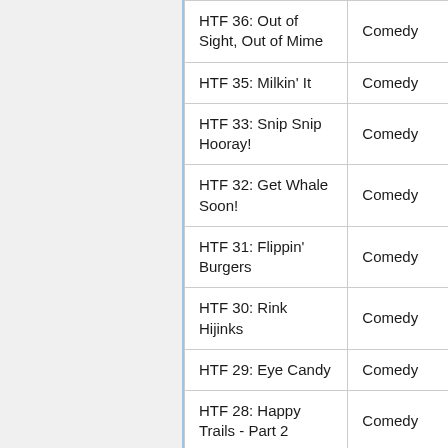| Episode | Genre |
| --- | --- |
| HTF 36: Out of Sight, Out of Mime | Comedy |
| HTF 35: Milkin' It | Comedy |
| HTF 33: Snip Snip Hooray! | Comedy |
| HTF 32: Get Whale Soon! | Comedy |
| HTF 31: Flippin' Burgers | Comedy |
| HTF 30: Rink Hijinks | Comedy |
| HTF 29: Eye Candy | Comedy |
| HTF 28: Happy Trails - Part 2 | Comedy |
| HTF 27: Happy Trails - Part 1 | Comedy |
| HTF 26: This Is Your Knife | Comedy |
| HTF 25: Snow What? That's What! | Comedy |
| HTF 24: Spare Me | Comedy |
| HTF 23: Off the Hook | Comedy |